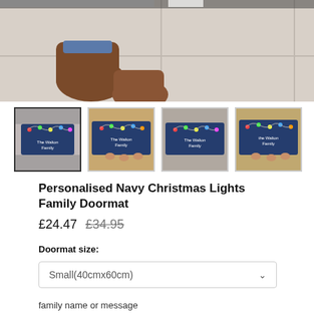[Figure (photo): Top-down view of person wearing brown boots standing on a navy Christmas lights doormat on a tiled floor]
[Figure (photo): Thumbnail 1: navy Christmas lights family doormat with checkered border, selected]
[Figure (photo): Thumbnail 2: navy Christmas lights family doormat on wood floor]
[Figure (photo): Thumbnail 3: navy Christmas lights family doormat from above]
[Figure (photo): Thumbnail 4: navy Christmas lights family doormat closeup]
Personalised Navy Christmas Lights Family Doormat
£24.47  £34.95
Doormat size:
Small(40cmx60cm)
family name or message